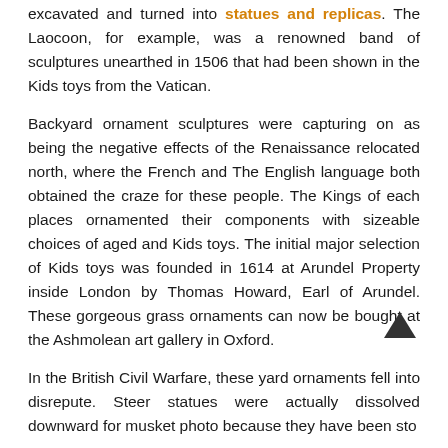excavated and turned into statues and replicas. The Laocoon, for example, was a renowned band of sculptures unearthed in 1506 that had been shown in the Kids toys from the Vatican.
Backyard ornament sculptures were capturing on as being the negative effects of the Renaissance relocated north, where the French and The English language both obtained the craze for these people. The Kings of each places ornamented their components with sizeable choices of aged and Kids toys. The initial major selection of Kids toys was founded in 1614 at Arundel Property inside London by Thomas Howard, Earl of Arundel. These gorgeous grass ornaments can now be bought at the Ashmolean art gallery in Oxford.
In the British Civil Warfare, these yard ornaments fell into disrepute. Steer statues were actually dissolved downward for musket photo because they have been sto...